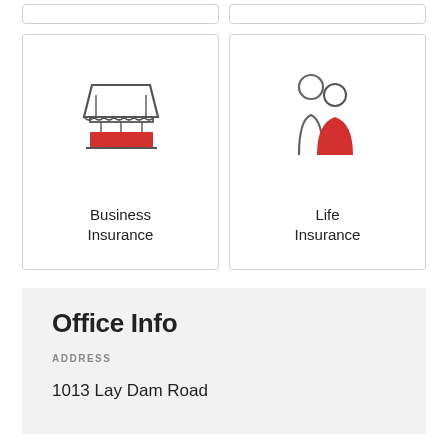[Figure (illustration): Business Insurance card with a market stall / shop front icon in outline with red base]
Business
Insurance
[Figure (illustration): Life Insurance card with two person icons, one grey outline and one red filled]
Life
Insurance
Office Info
ADDRESS
1013 Lay Dam Road